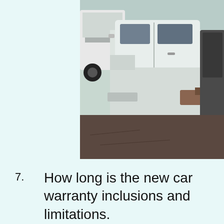[Figure (photo): Photograph of white commercial trucks/utility vehicles parked on a dark asphalt surface. Multiple large white trucks are visible, with the foreground showing a close-up of one truck's cab and chassis. The background shows additional trucks and a light sky.]
7.   How long is the new car warranty inclusions and limitations.